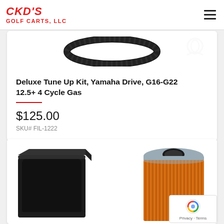CKD'S GOLF CARTS, LLC
[Figure (photo): Partial product image showing a drive belt (black oval/ring) against white background, with a watermark logo in the top right corner]
Deluxe Tune Up Kit, Yamaha Drive, G16-G22 12.5+ 4 Cycle Gas
$125.00
SKU# FIL-1222
[Figure (photo): Two air filter products: a large square black foam air filter on the left, and an orange pleated cylindrical air filter with gray plastic top on the right]